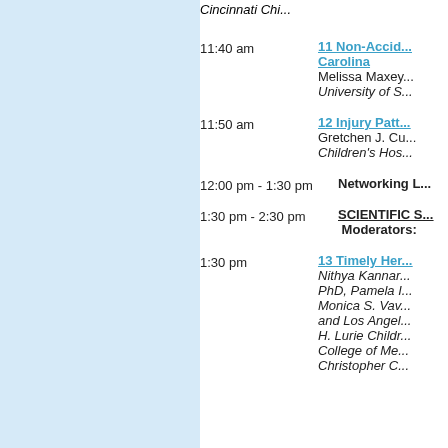Cincinnati Chi...
11:40 am — 11 Non-Accid... Carolina
Melissa Maxey...
University of S...
11:50 am — 12 Injury Patt...
Gretchen J. Cu...
Children's Hos...
12:00 pm - 1:30 pm — Networking L...
1:30 pm - 2:30 pm — SCIENTIFIC S...
Moderators:
1:30 pm — 13 Timely Her...
Nithya Kannar...
PhD, Pamela I...
Monica S. Vav...
and Los Angel...
H. Lurie Childr...
College of Me...
Christopher C...